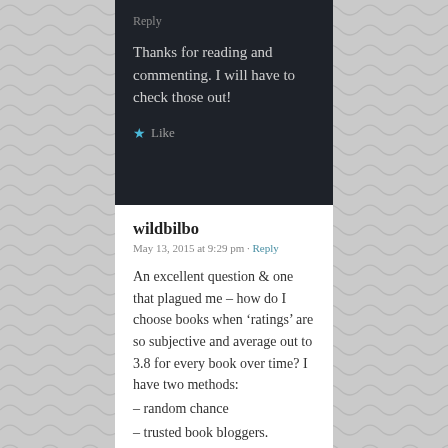Reply
Thanks for reading and commenting. I will have to check those out!
★ Like
wildbilbo
May 13, 2015 at 9:29 pm · Reply
An excellent question & one that plagued me – how do I choose books when 'ratings' are so subjective and average out to 3.8 for every book over time? I have two methods:
– random chance
– trusted book bloggers.